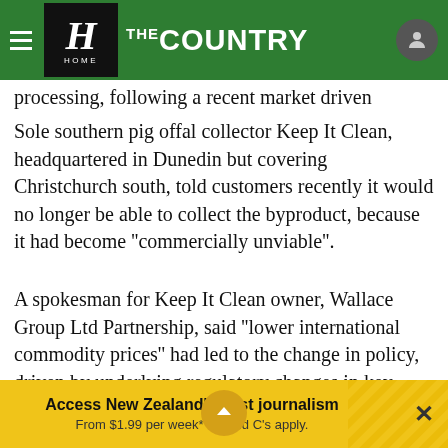THE COUNTRY — Home
processing, following a recent market driven change.
Sole southern pig offal collector Keep It Clean, headquartered in Dunedin but covering Christchurch south, told customers recently it would no longer be able to collect the byproduct, because it had become ''commercially unviable''.
A spokesman for Keep It Clean owner, Wallace Group Ltd Partnership, said ''lower international commodity prices'' had led to the change in policy, driven by underlying regulatory changes in key markets.
''More stringent requirem... from customers in
Access New Zealand's best journalism From $1.99 per week* T's and C's apply.